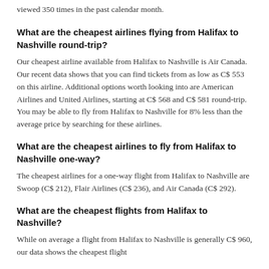viewed 350 times in the past calendar month.
What are the cheapest airlines flying from Halifax to Nashville round-trip?
Our cheapest airline available from Halifax to Nashville is Air Canada. Our recent data shows that you can find tickets from as low as C$ 553 on this airline. Additional options worth looking into are American Airlines and United Airlines, starting at C$ 568 and C$ 581 round-trip. You may be able to fly from Halifax to Nashville for 8% less than the average price by searching for these airlines.
What are the cheapest airlines to fly from Halifax to Nashville one-way?
The cheapest airlines for a one-way flight from Halifax to Nashville are Swoop (C$ 212), Flair Airlines (C$ 236), and Air Canada (C$ 292).
What are the cheapest flights from Halifax to Nashville?
While on average a flight from Halifax to Nashville is generally C$ 960, our data shows the cheapest flight